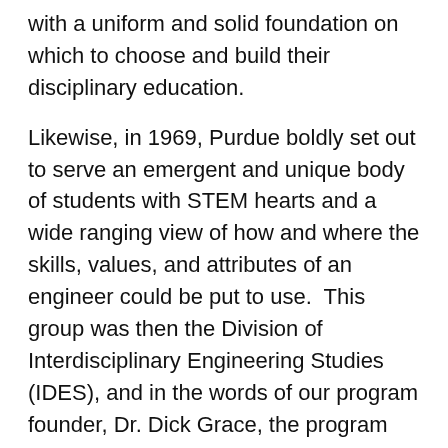with a uniform and solid foundation on which to choose and build their disciplinary education.
Likewise, in 1969, Purdue boldly set out to serve an emergent and unique body of students with STEM hearts and a wide ranging view of how and where the skills, values, and attributes of an engineer could be put to use.  This group was then the Division of Interdisciplinary Engineering Studies (IDES), and in the words of our program founder, Dr. Dick Grace, the program was created "… in response to student faculty, and industrial needs for engineers more broadly educated than ever before."
In 2003, Dr. Phil Wankat, then Director of the Division of Interdisciplinary Engineering Studies, went about re-envisioning how to best serve two distinct pathways that students were found to be gravitating toward. The first path, was for students who wanted an engineering education background, but aspired to take that background into pre-professional schools such as pre-med or pre-law, or